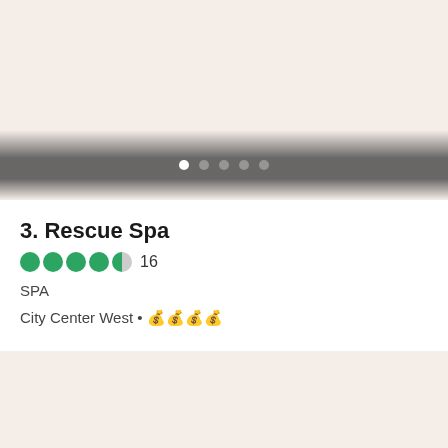[Figure (screenshot): Slider/carousel image area with navigation dots on a dark bar overlay]
3. Rescue Spa
4.5 stars rating with 16 reviews
SPA
City Center West • 💰💰💰💰